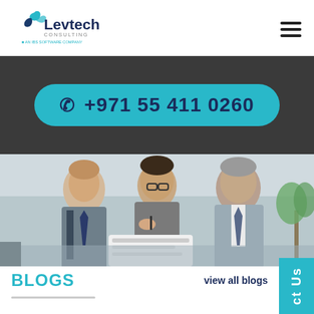[Figure (logo): Levtech Consulting logo - blue bird/arrow icon with 'Levtech' text and 'CONSULTING AN IBS SOFTWARE COMPANY' subtitle]
[Figure (infographic): Teal/cyan rounded rectangle button with phone icon and phone number +971 55 411 0260 on dark grey background]
[Figure (photo): Three businesspeople in suits having a meeting, looking at documents]
BLOGS
view all blogs
[Figure (other): Contact Us vertical tab on right side]